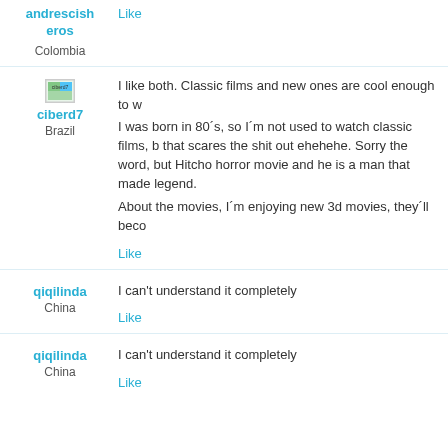andrescisheros
Colombia
Like
[Figure (photo): Small thumbnail avatar image for ciberd7]
ciberd7
Brazil
I like both. Classic films and new ones are cool enough to w
I was born in 80´s, so I´m not used to watch classic films, b that scares the shit out ehehehe. Sorry the word, but Hitcho horror movie and he is a man that made legend.
About the movies, I´m enjoying new 3d movies, they´ll beco
Like
qiqilinda
China
I can't understand it completely
Like
qiqilinda
China
I can't understand it completely
Like